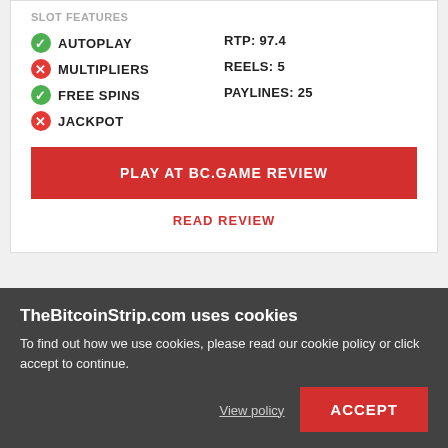SLOT FEATURES
✅ AUTOPLAY
❌ MULTIPLIERS
✅ FREE SPINS
❌ JACKPOT
RTP: 97.4
REELS: 5
PAYLINES: 25
PLAY AT BC.GAME REVIEW
READ REVIEW
Nuts Commander
[Figure (photo): Nuts Commander slot game thumbnail with colorful nuts/squirrel theme]
TheBitcoinStrip.com uses cookies
To find out how we use cookies, please read our cookie policy or click accept to continue.
View policy
ACCEPT
BITCOIN CASINOS